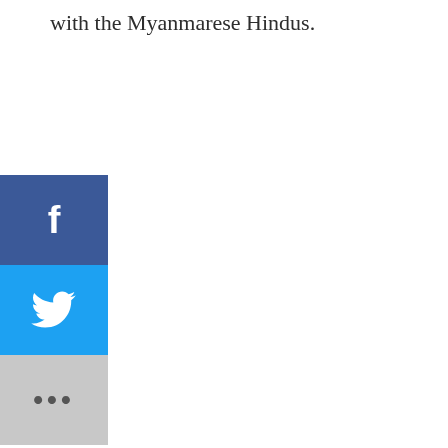with the Myanmarese Hindus.
[Figure (other): Social sharing buttons: Facebook (blue), Twitter (light blue), and More (gray with ellipsis dots)]